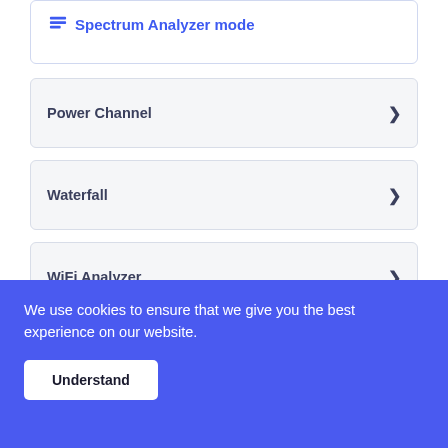Spectrum Analyzer mode
Power Channel
Waterfall
WiFi Analyzer
We use cookies to ensure that we give you the best experience on our website.
Understand